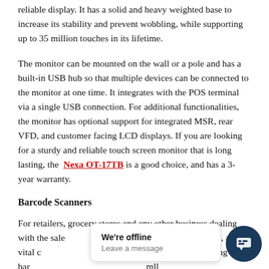reliable display. It has a solid and heavy weighted base to increase its stability and prevent wobbling, while supporting up to 35 million touches in its lifetime.
The monitor can be mounted on the wall or a pole and has a built-in USB hub so that multiple devices can be connected to the monitor at one time. It integrates with the POS terminal via a single USB connection. For additional functionalities, the monitor has optional support for integrated MSR, rear VFD, and customer facing LCD displays. If you are looking for a sturdy and reliable touch screen monitor that is long lasting, the Nexa OT-17TB is a good choice, and has a 3-year warranty.
Barcode Scanners
For retailers, grocery stores and any other business dealing with the sale... m is integral, and a vital c... e scanner. By using bar... mll...